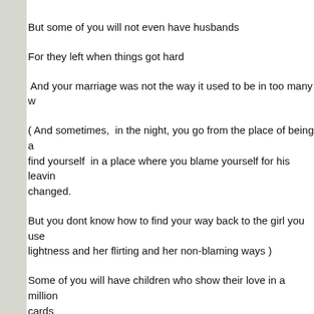But some of you will not even have husbands
For they left when things got hard
And your marriage was not the way it used to be in too many w
( And sometimes,  in the night, you go from the place of being a find yourself  in a place where you blame yourself for his leavin changed.
But you dont know how to find your way back to the girl you use lightness and her flirting and her non-blaming ways )
Some of you will have children who show their love in a million cards
But some of you will have children that cannot show their love
Today will be like any other day where you may change diapers past the diapers of  the cute cartoon figures .